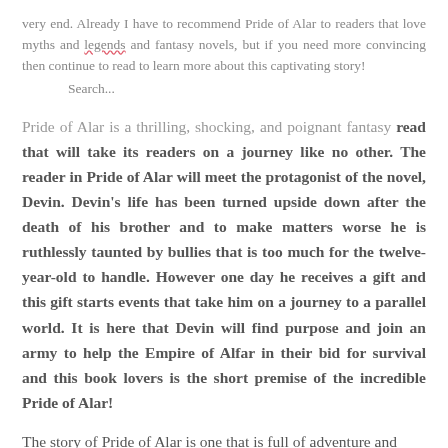very end. Already I have to recommend Pride of Alar to readers that love myths and legends and fantasy novels, but if you need more convincing then continue to read to learn more about this captivating story!
    Search...
Pride of Alar is a thrilling, shocking, and poignant fantasy read that will take its readers on a journey like no other. The reader in Pride of Alar will meet the protagonist of the novel, Devin. Devin's life has been turned upside down after the death of his brother and to make matters worse he is ruthlessly taunted by bullies that is too much for the twelve-year-old to handle. However one day he receives a gift and this gift starts events that take him on a journey to a parallel world. It is here that Devin will find purpose and join an army to help the Empire of Alfar in their bid for survival and this book lovers is the short premise of the incredible Pride of Alar!
The story of Pride of Alar is one that is full of adventure and